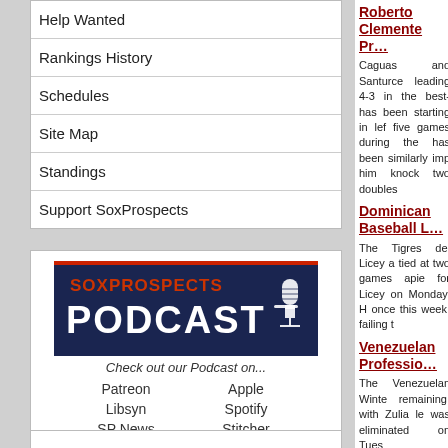Help Wanted
Rankings History
Schedules
Site Map
Standings
Support SoxProspects
[Figure (logo): SoxProspects Podcast logo on dark blue background with microphone icon]
Check out our Podcast on...
Patreon    Apple
Libsyn    Spotify
SP News    Stitcher
Roberto Clemente Pr...
Caguas and Santurce leading 4-3 in the best- has been starting in lef five games during the has been similarly imp him knock two doubles
Dominican Baseball L...
The Tigres del Licey a tied at two games apie for Licey on Monday. H once this week, failing t
Venezuelan Professio...
The Venezuelan Winte remaining, with Zulia le was eliminated on Tues
Australian Baseball L...
Left-hander Daniel Mc hits and four walks whi
The ABL, which plays o playoffs' first round fro Melbourne needs one